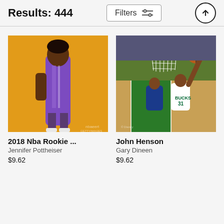Results: 444
Filters
[Figure (photo): NBA player in purple uniform standing with head down, orange background]
2018 Nba Rookie ...
Jennifer Pottheiser
$9.62
[Figure (photo): John Henson Milwaukee Bucks player #31 reaching for basketball near the rim against Detroit Pistons player]
John Henson
Gary Dineen
$9.62